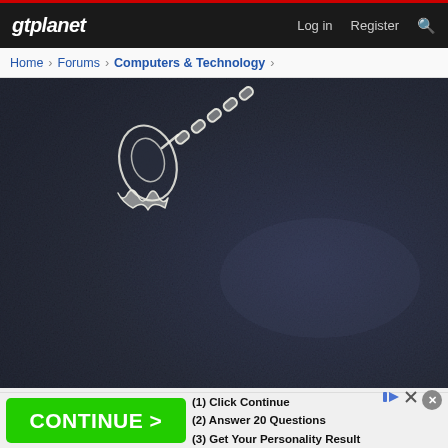gtplanet  |  Log in  Register  🔍
Home > Forums > Computers & Technology >
[Figure (photo): Close-up photo of a laptop trackpad surface showing a ghost-like scratch or etching pattern in white/translucent material on a dark blue-black textured surface. The image fills most of the page.]
[Figure (screenshot): Advertisement banner with green CONTINUE > button on the left, and text: (1) Click Continue, (2) Answer 20 Questions, (3) Get Your Personality Result on the right.]